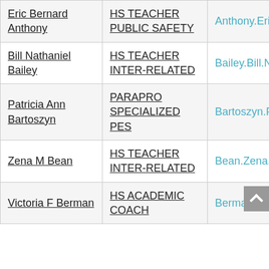| Name | Role | Email |
| --- | --- | --- |
| Eric Bernard Anthony | HS TEACHER PUBLIC SAFETY | Anthony.Eric.B@muscogee.k12.ga.us |
| Bill Nathaniel Bailey | HS TEACHER INTER-RELATED | Bailey.Bill.N@muscogee.k12.ga.us |
| Patricia Ann Bartoszyn | PARAPRO SPECIALIZED PES | Bartoszyn.Patricia.A@muscogee.k12.ga.us |
| Zena M Bean | HS TEACHER INTER-RELATED | Bean.Zena.M@muscogee.k12.ga.us |
| Victoria F Berman | HS ACADEMIC COACH | Berman.Victoria.F@muscog... |